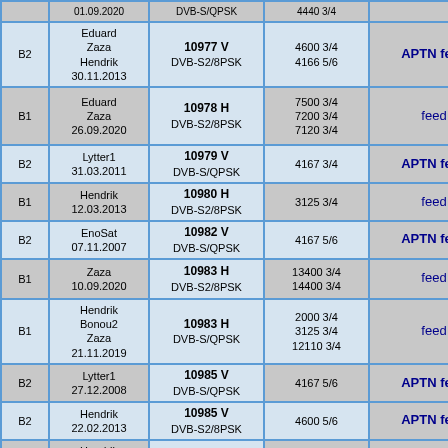|  | Name/Date | Frequency/Standard | SR FEC | Description |
| --- | --- | --- | --- | --- |
|  | 01.09.2020 | DVB-S/QPSK | 4440 3/4 |  |
| B2 | Eduard
Zaza
Hendrik
30.11.2013 | 10977 V
DVB-S2/8PSK | 4600 3/4
4166 5/6 | APTN feed |
| B1 | Eduard
Zaza
26.09.2020 | 10978 H
DVB-S2/8PSK | 7500 3/4
7200 3/4
7120 3/4 | feed |
| B2 | Lytter1
31.03.2011 | 10979 V
DVB-S/QPSK | 4167 3/4 | APTN feed |
| B1 | Hendrik
12.03.2013 | 10980 H
DVB-S2/8PSK | 3125 3/4 | feed |
| B2 | EnoSat
07.11.2007 | 10982 V
DVB-S/QPSK | 4167 5/6 | APTN feed |
| B1 | Zaza
10.09.2020 | 10983 H
DVB-S2/8PSK | 13400 3/4
14400 3/4 | feed |
| B1 | Hendrik
Bonou2
Zaza
21.11.2019 | 10983 H
DVB-S/QPSK | 2000 3/4
3125 3/4
12110 3/4 | feed |
| B2 | Lytter1
27.12.2008 | 10985 V
DVB-S/QPSK | 4167 5/6 | APTN feed |
| B2 | Hendrik
22.02.2013 | 10985 V
DVB-S2/8PSK | 4600 5/6 | APTN feed |
| B1 | Hendrik
Zaza
10.09.2020 | 10987 H
DVB-S2/8PSK | 7200 3/4 | feed |